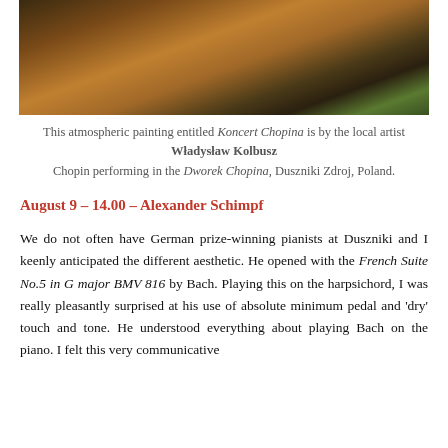[Figure (photo): A dark atmospheric oil painting showing figures in warm amber and earth tones, representing Chopin performing at the Dworek Chopina.]
This atmospheric painting entitled Koncert Chopina is by the local artist Władysław Kolbusz Chopin performing in the Dworek Chopina, Duszniki Zdroj, Poland.
August 9 – 14.00 – Alexander Schimpf
We do not often have German prize-winning pianists at Duszniki and I keenly anticipated the different aesthetic. He opened with the French Suite No.5 in G major BMV 816 by Bach. Playing this on the harpsichord, I was really pleasantly surprised at his use of absolute minimum pedal and 'dry' touch and tone. He understood everything about playing Bach on the piano. I felt this very communicative